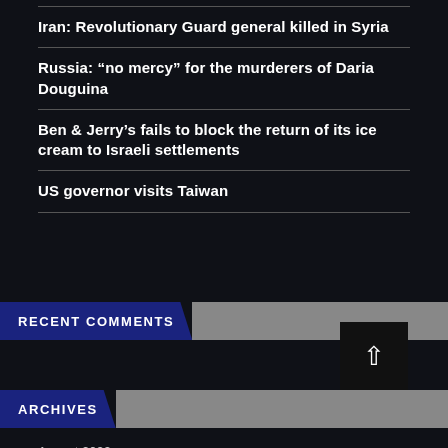Iran: Revolutionary Guard general killed in Syria
Russia: “no mercy” for the murderers of Daria Douguina
Ben & Jerry’s fails to block the return of its ice cream to Israeli settlements
US governor visits Taiwan
RECENT COMMENTS
ARCHIVES
August 2022